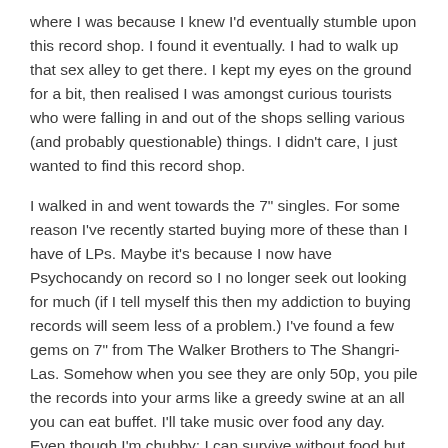where I was because I knew I'd eventually stumble upon this record shop. I found it eventually. I had to walk up that sex alley to get there. I kept my eyes on the ground for a bit, then realised I was amongst curious tourists who were falling in and out of the shops selling various (and probably questionable) things. I didn't care, I just wanted to find this record shop.
I walked in and went towards the 7" singles. For some reason I've recently started buying more of these than I have of LPs. Maybe it's because I now have Psychocandy on record so I no longer seek out looking for much (if I tell myself this then my addiction to buying records will seem less of a problem.) I've found a few gems on 7" from The Walker Brothers to The Shangri-Las. Somehow when you see they are only 50p, you pile the records into your arms like a greedy swine at an all you can eat buffet. I'll take music over food any day. Even though I'm chubby; I can survive without food but not music.
I must have been in the shop for close to an hour and a half. I realised I had friends to meet. I also realised I forgot the way to